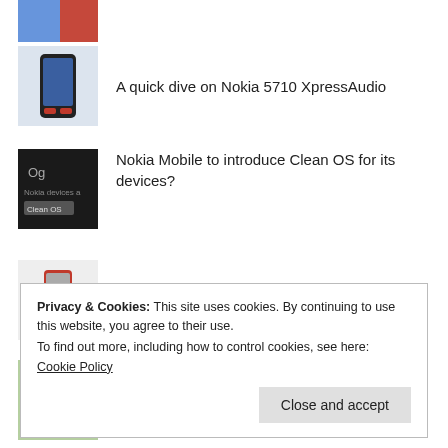[Figure (photo): Partial image at top, blue and red colors visible]
A quick dive on Nokia 5710 XpressAudio
Nokia Mobile to introduce Clean OS for its devices?
Nokia 2660 Flip available now in the UK for £64.99
Farewell to Nokia PlayUp and hello to JBL Flip 6
Privacy & Cookies: This site uses cookies. By continuing to use this website, you agree to their use.
To find out more, including how to control cookies, see here: Cookie Policy
Close and accept